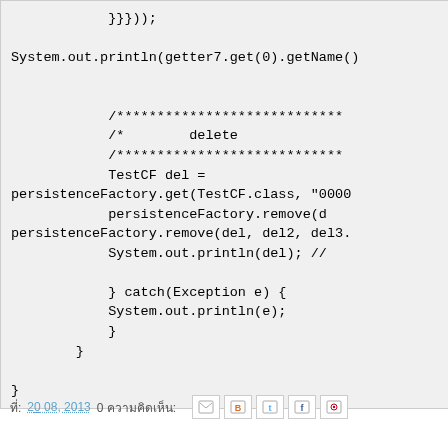Code block showing Java code snippet with delete operation and exception handling
ที่: 20 08, 2013   0 ความคิดเห็น: